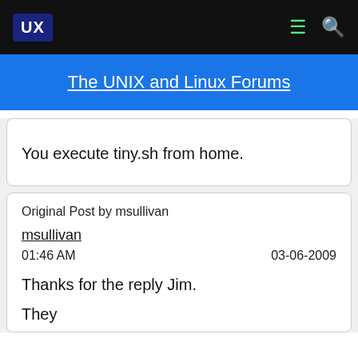UX | The UNIX and Linux Forums
You execute tiny.sh from home.
Original Post by msullivan
msullivan
01:46 AM   03-06-2009
Thanks for the reply Jim.
They...